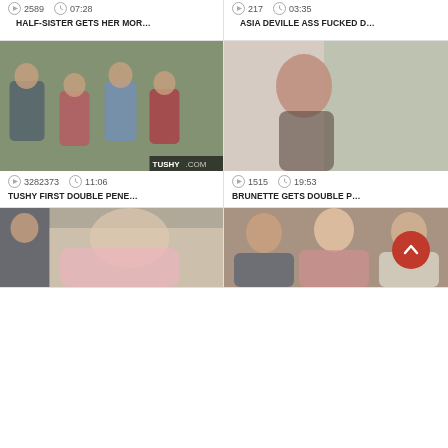[Figure (screenshot): Video thumbnail grid showing adult video website with thumbnails, play counts, durations, and titles]
2589   07:28
HALF-SISTER GETS HER MOR...
217   03:35
ASIA DEVILLE ASS FUCKED D...
[Figure (photo): Group of people sitting outside on patio, TUSHY.COM watermark]
3282373   11:06
TUSHY FIRST DOUBLE PENE...
[Figure (photo): Close-up of brunette woman]
1515   19:53
BRUNETTE GETS DOUBLE P...
[Figure (photo): Woman on couch]
[Figure (photo): Two men and a woman on a sofa]